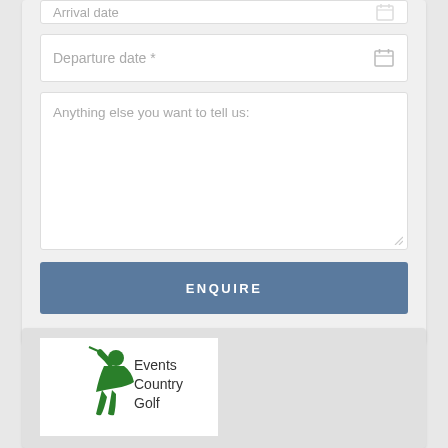[Figure (screenshot): Partially visible arrival date input field with calendar icon at top of form]
Departure date *
Anything else you want to tell us:
ENQUIRE
[Figure (logo): Events Country Golf logo with green golfer silhouette]